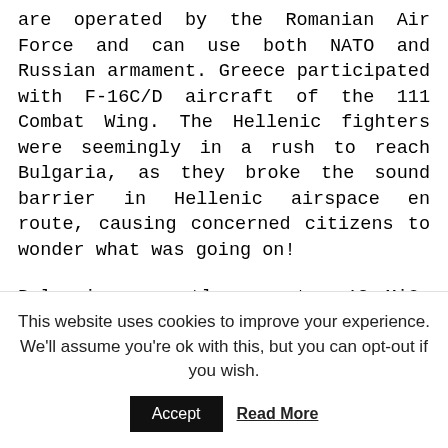are operated by the Romanian Air Force and can use both NATO and Russian armament. Greece participated with F-16C/D aircraft of the 111 Combat Wing. The Hellenic fighters were seemingly in a rush to reach Bulgaria, as they broke the sound barrier in Hellenic airspace en route, causing concerned citizens to wonder what was going on!
Bulgaria currently operates 12 MiG-29s but has not been looking to acquire any additional Russian fighters to replace its older MiG-21 models. Instead, Bulgaria announced last year that it had
This website uses cookies to improve your experience. We'll assume you're ok with this, but you can opt-out if you wish.
Accept    Read More